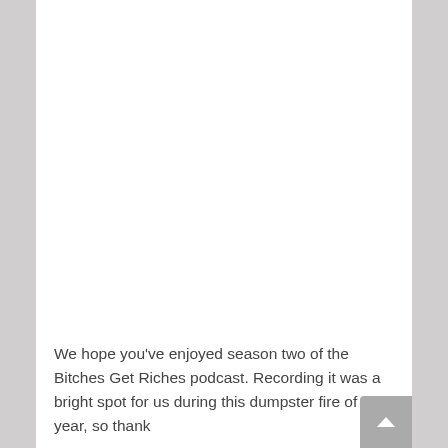We hope you've enjoyed season two of the Bitches Get Riches podcast. Recording it was a bright spot for us during this dumpster fire of a year, so thank